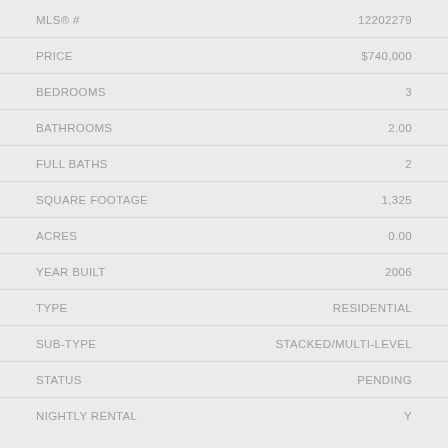| Field | Value |
| --- | --- |
| MLS® # | 12202279 |
| PRICE | $740,000 |
| BEDROOMS | 3 |
| BATHROOMS | 2.00 |
| FULL BATHS | 2 |
| SQUARE FOOTAGE | 1,325 |
| ACRES | 0.00 |
| YEAR BUILT | 2006 |
| TYPE | RESIDENTIAL |
| SUB-TYPE | STACKED/MULTI-LEVEL |
| STATUS | PENDING |
| NIGHTLY RENTAL | Y |